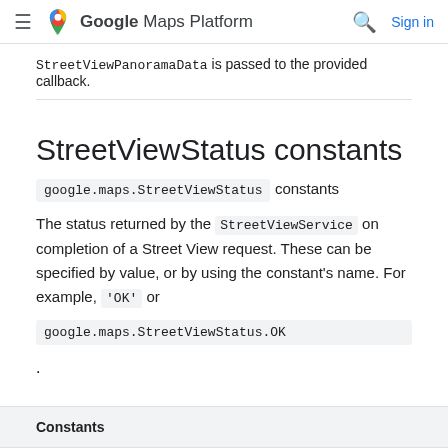Google Maps Platform  Sign in
StreetViewPanoramaData is passed to the provided callback.
StreetViewStatus constants
google.maps.StreetViewStatus constants
The status returned by the StreetViewService on completion of a Street View request. These can be specified by value, or by using the constant's name. For example, 'OK' or google.maps.StreetViewStatus.OK.
| Constants |
| --- |